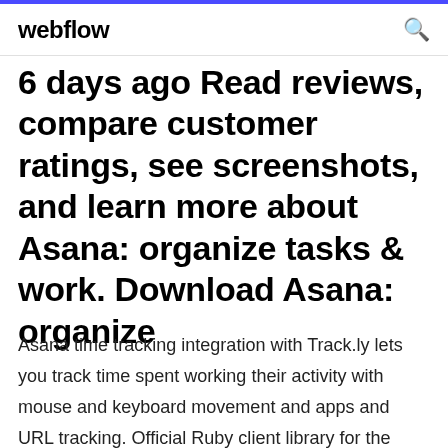webflow
6 days ago Read reviews, compare customer ratings, see screenshots, and learn more about Asana: organize tasks & work. Download Asana: organize
Asana time tracking integration with Track.ly lets you track time spent working their activity with mouse and keyboard movement and apps and URL tracking. Official Ruby client library for the Asana API v1. Contribute to Asana/ruby-asana development by creating an account on GitHub. Find file. Clone or download  SquidHub is a collaboration app for people who want